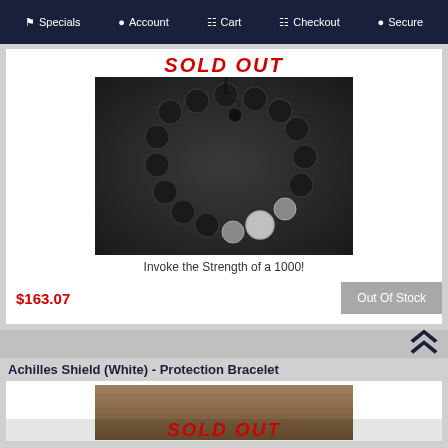Specials  Account  Cart  Checkout  Secure
[Figure (photo): Black matte beaded bracelet with silver lion head charm, SOLD OUT overlay text in red]
Invoke the Strength of a 1000!
$163.07
Out Of Stock
Achilles Shield (White) - Protection Bracelet
[Figure (photo): Bracelet on woven surface with SOLD OUT text overlay in red, partially visible]